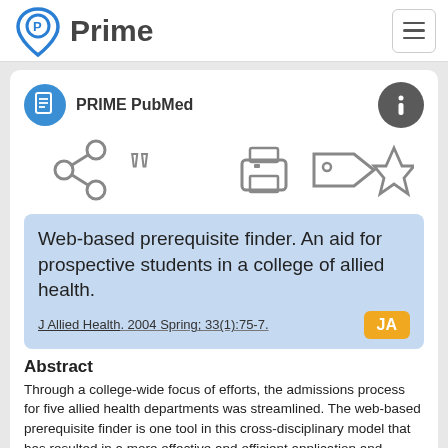Prime — PRIME PubMed
PRIME PubMed
Web-based prerequisite finder. An aid for prospective students in a college of allied health.
J Allied Health. 2004 Spring; 33(1):75-7.
Abstract
Through a college-wide focus of efforts, the admissions process for five allied health departments was streamlined. The web-based prerequisite finder is one tool in this cross-disciplinary model that has resulted in a more effective and efficient application and admissions process for the college